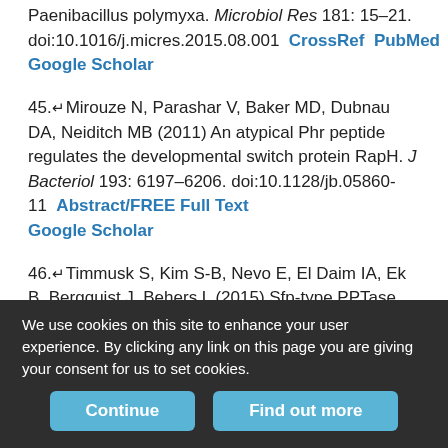Paenibacillus polymyxa. Microbiol Res 181: 15–21. doi:10.1016/j.micres.2015.08.001  CrossRef  PubMed  Google Scholar
45.↵Mirouze N, Parashar V, Baker MD, Dubnau DA, Neiditch MB (2011) An atypical Phr peptide regulates the developmental switch protein RapH. J Bacteriol 193: 6197–6206. doi:10.1128/jb.05860-11  Abstract/FREE Full Text  Google Scholar
46.↵Timmusk S, Kim S-B, Nevo E, El Daim IA, Ek B, Bergquist J, Behers L (2015) Sfp-type PPTase inactivation promotes bacterial biofilm formation and ability to enhance wheat drought tolerance. Front Microbiol 6: 387.
We use cookies on this site to enhance your user experience. By clicking any link on this page you are giving your consent for us to set cookies.